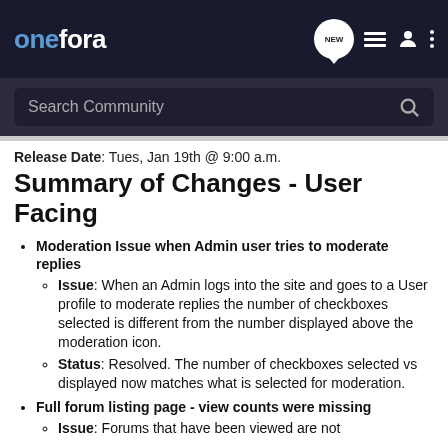onefora [navigation bar with NEW, list, user, dots icons]
Search Community
Release Date: Tues, Jan 19th @ 9:00 a.m.
Summary of Changes - User Facing
Moderation Issue when Admin user tries to moderate replies
Issue: When an Admin logs into the site and goes to a User profile to moderate replies the number of checkboxes selected is different from the number displayed above the moderation icon.
Status: Resolved. The number of checkboxes selected vs displayed now matches what is selected for moderation.
Full forum listing page - view counts were missing
Issue: Forums that have been viewed are not